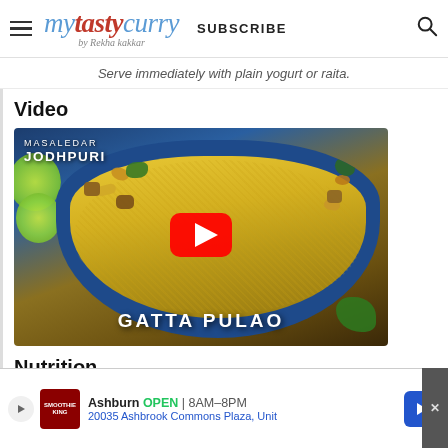mytastycurry by Rekha kakkar | SUBSCRIBE
Serve immediately with plain yogurt or raita.
Video
[Figure (screenshot): YouTube video thumbnail for Masaledar Jodhpuri Gatta Pulao, showing a blue bowl filled with yellow saffron rice, garnished with herbs and nuts, with lime slices on the side. A red YouTube play button is centered on the image. Text overlay reads 'MASALEDAR JODHPURI' at top left and 'GATTA PULAO' at the bottom.]
Nutrition
Calories: 340kcal | Carbohydrates: 53g | Protein:
12... g | S...
[Figure (screenshot): Advertisement banner for Smoothie King in Ashburn showing OPEN 8AM-8PM, address 20035 Ashbrook Commons Plaza, Unit, with navigation arrow icon.]